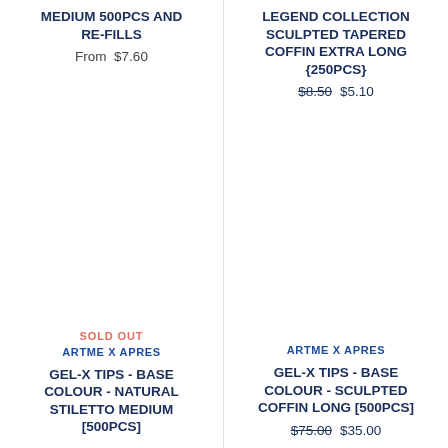MEDIUM 500PCS AND RE-FILLS
From $7.60
LEGEND COLLECTION SCULPTED TAPERED COFFIN EXTRA LONG {250PCS}
$8.50  $5.10
SOLD OUT
ARTME X APRES
GEL-X TIPS - BASE COLOUR - NATURAL STILETTO MEDIUM [500PCS]
ARTME X APRES
GEL-X TIPS - BASE COLOUR - SCULPTED COFFIN LONG [500PCS]
$75.00  $35.00